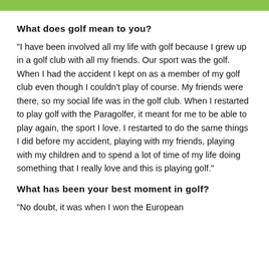[Figure (other): Green decorative bar at top of page]
What does golf mean to you?
“I have been involved all my life with golf because I grew up in a golf club with all my friends. Our sport was the golf. When I had the accident I kept on as a member of my golf club even though I couldn’t play of course. My friends were there, so my social life was in the golf club. When I restarted to play golf with the Paragolfer, it meant for me to be able to play again, the sport I love. I restarted to do the same things I did before my accident, playing with my friends, playing with my children and to spend a lot of time of my life doing something that I really love and this is playing golf.”
What has been your best moment in golf?
“No doubt, it was when I won the European